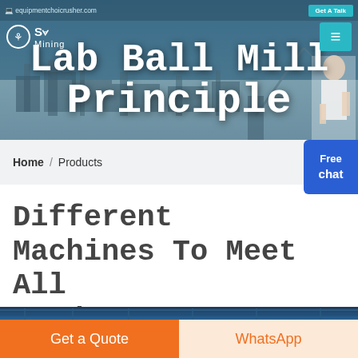equipmentchoicrusher.com  |  Get A Talk
Lab Ball Mill Principle
[Figure (photo): Industrial mining equipment/machinery facility photo used as header background, with a customer support representative figure on the right side]
Home / Products
Different Machines To Meet All Need
[Figure (photo): Partial photo of an industrial facility interior with blue roof structure, shown at the bottom of the page]
Get a Quote
WhatsApp